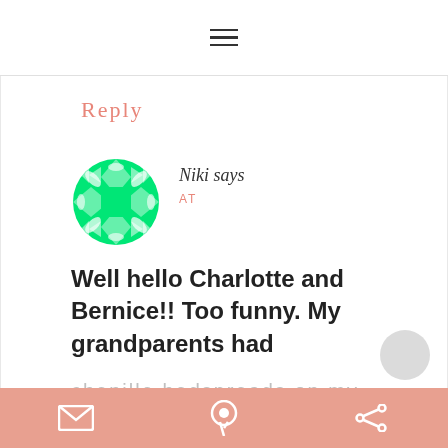≡
Reply
[Figure (illustration): Green decorative circular avatar icon with a quilt/geometric pattern]
Niki says
AT
Well hello Charlotte and Bernice!! Too funny. My grandparents had
chenille bedspreads on my aunts bed and on the bed my dad and